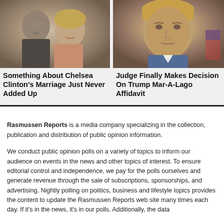[Figure (photo): A man and woman smiling together, woman has blonde hair]
Something About Chelsea Clinton's Marriage Just Never Added Up
[Figure (photo): Close-up portrait of Donald Trump with serious expression]
Judge Finally Makes Decision On Trump Mar-A-Lago Affidavit
Rasmussen Reports is a media company specializing in the collection, publication and distribution of public opinion information.
We conduct public opinion polls on a variety of topics to inform our audience on events in the news and other topics of interest. To ensure editorial control and independence, we pay for the polls ourselves and generate revenue through the sale of subscriptions, sponsorships, and advertising. Nightly polling on politics, business and lifestyle topics provides the content to update the Rasmussen Reports web site many times each day. If it's in the news, it's in our polls. Additionally, the data